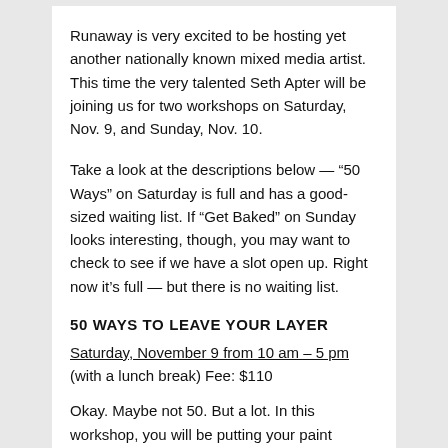Runaway is very excited to be hosting yet another nationally known mixed media artist. This time the very talented Seth Apter will be joining us for two workshops on Saturday, Nov. 9, and Sunday, Nov. 10.
Take a look at the descriptions below — “50 Ways” on Saturday is full and has a good-sized waiting list. If “Get Baked” on Sunday looks interesting, though, you may want to check to see if we have a slot open up. Right now it’s full — but there is no waiting list.
50 WAYS TO LEAVE YOUR LAYER
Saturday, November 9 from 10 am – 5 pm (with a lunch break) Fee: $110
Okay. Maybe not 50. But a lot. In this workshop, you will be putting your paint playlist on repeat as we go through a series of paint layering techniques that you can apply to all your creative projects. Everybody will be provided with a journal to work in that we will fill up, page after page, with layered backgrounds. Additive and subtractive paint